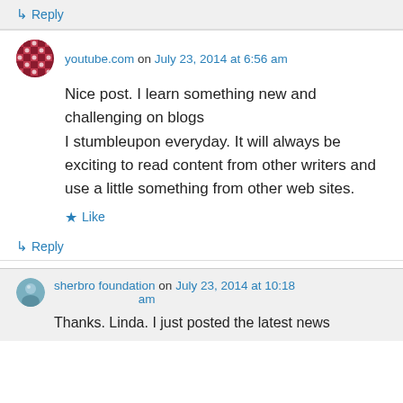↳ Reply
youtube.com on July 23, 2014 at 6:56 am
Nice post. I learn something new and challenging on blogs
I stumbleupon everyday. It will always be exciting to read content from other writers and use a little something from other web sites.
★ Like
↳ Reply
sherbro foundation on July 23, 2014 at 10:18 am
Thanks. Linda. I just posted the latest news